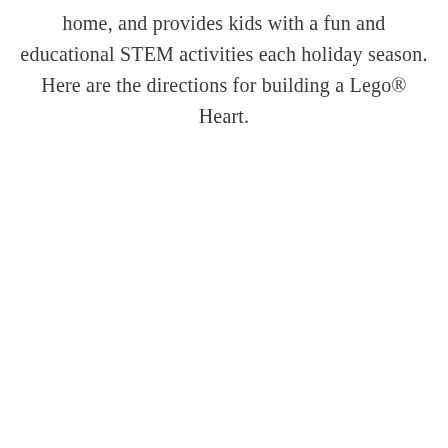home, and provides kids with a fun and educational STEM activities each holiday season. Here are the directions for building a Lego® Heart.